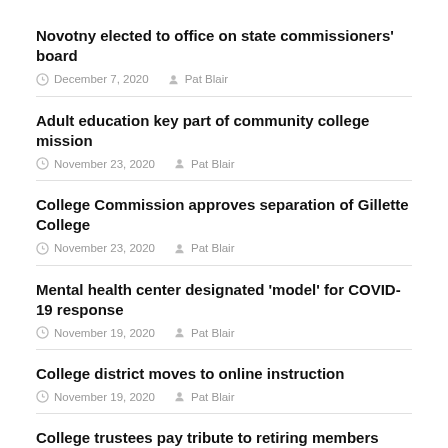Novotny elected to office on state commissioners' board | December 7, 2020 | Pat Blair
Adult education key part of community college mission | November 23, 2020 | Pat Blair
College Commission approves separation of Gillette College | November 23, 2020 | Pat Blair
Mental health center designated 'model' for COVID-19 response | November 19, 2020 | Pat Blair
College district moves to online instruction | November 19, 2020 | Pat Blair
College trustees pay tribute to retiring members | November 18, 2020 | Pat Blair